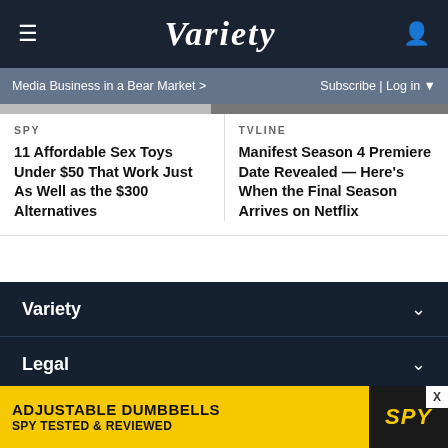Variety
Media Business in a Bear Market >    Subscribe | Log in
SPY
11 Affordable Sex Toys Under $50 That Work Just As Well as the $300 Alternatives
TVLINE
Manifest Season 4 Premiere Date Revealed — Here's When the Final Season Arrives on Netflix
Variety
Legal
Variety Magazine
[Figure (other): Advertisement banner: ADJUSTABLE DUMBBELLS SPY TESTED & REVIEWED with SPY logo on yellow background]